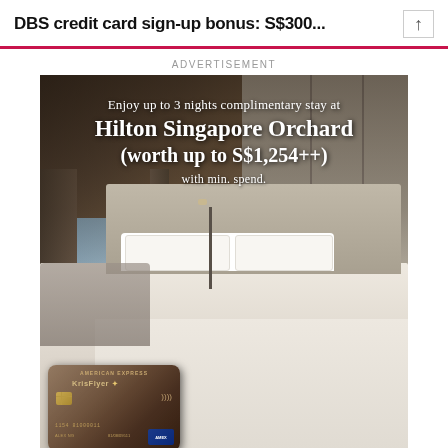DBS credit card sign-up bonus: S$300...
ADVERTISEMENT
[Figure (photo): Advertisement for American Express KrisFlyer credit card featuring a luxury hotel room at Hilton Singapore Orchard. The image shows a modern hotel room with a large bed, city view window, and the text 'Enjoy up to 3 nights complimentary stay at Hilton Singapore Orchard (worth up to S$1,254++) with min. spend.' An American Express KrisFlyer credit card is shown at the bottom left of the advertisement.]